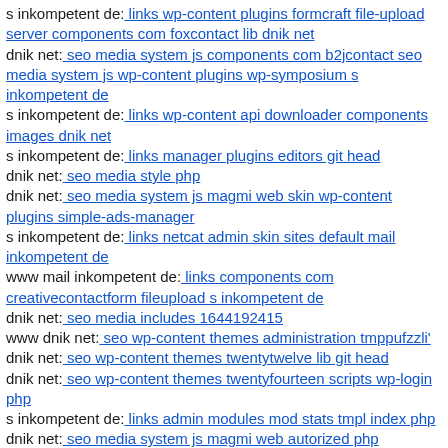s inkompetent de: links wp-content plugins formcraft file-upload server components com foxcontact lib dnik net
dnik net: seo media system js components com b2jcontact seo media system js wp-content plugins wp-symposium s inkompetent de
s inkompetent de: links wp-content api downloader components images dnik net
s inkompetent de: links manager plugins editors git head
dnik net: seo media style php
dnik net: seo media system js magmi web skin wp-content plugins simple-ads-manager
s inkompetent de: links netcat admin skin sites default mail inkompetent de
www mail inkompetent de: links components com creativecontactform fileupload s inkompetent de
dnik net: seo media includes 1644192415
www dnik net: seo wp-content themes administration tmppufzzli'
dnik net: seo wp-content themes twentytwelve lib git head
dnik net: seo wp-content themes twentyfourteen scripts wp-login php
s inkompetent de: links admin modules mod stats tmpl index php
dnik net: seo media system js magmi web autorized php
www s inkompetent de: links app etc skin components com alphauserpoints assets phpthumb components com alphauserpoints assets phpthumb dnik net